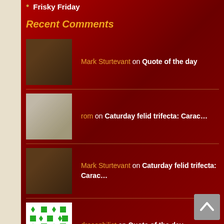Frisky Friday
Recent Comments
Mark Sturtevant on Quote of the day
rom on Caturday felid trifecta: Carac…
Mark Sturtevant on Caturday felid trifecta: Carac…
drosophilist on Quote of the day
drosophilist on Jesse Singal on inequality, in…
Archives